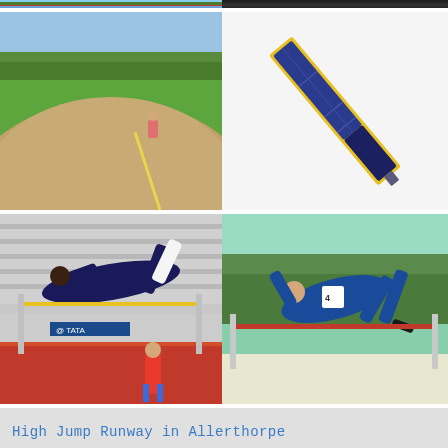[Figure (photo): Sports/athletics photo top left strip (partially visible at top)]
[Figure (photo): Dark sports photo top right strip (partially visible at top)]
[Figure (photo): Cricket or athletics field with sandy/gravel run-up area and green outfield, person in pink crouching in background]
[Figure (photo): Solar panel product photo on white background - long narrow rectangular blue/navy solar panel]
[Figure (photo): High jump athlete clearing bar at stadium with TATA branding, red track, spectators in background]
[Figure (photo): High jump athlete in blue uniform arching over red bar outdoors with trees in background]
High Jump Runway in Allerthorpe